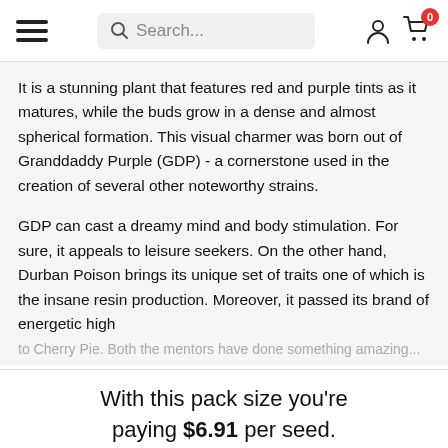Search...
It is a stunning plant that features red and purple tints as it matures, while the buds grow in a dense and almost spherical formation. This visual charmer was born out of Granddaddy Purple (GDP) - a cornerstone used in the creation of several other noteworthy strains.
GDP can cast a dreamy mind and body stimulation. For sure, it appeals to leisure seekers. On the other hand, Durban Poison brings its unique set of traits one of which is the insane resin production. Moreover, it passed its brand of energetic high to Cherry Pie. Both thementors have done something amazing...
With this pack size you're paying $6.91 per seed.
ADD TO CART